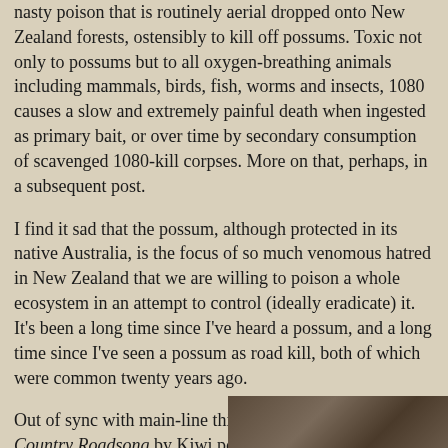nasty poison that is routinely aerial dropped onto New Zealand forests, ostensibly to kill off possums. Toxic not only to possums but to all oxygen-breathing animals including mammals, birds, fish, worms and insects, 1080 causes a slow and extremely painful death when ingested as primary bait, or over time by secondary consumption of scavenged 1080-kill corpses. More on that, perhaps, in a subsequent post.
I find it sad that the possum, although protected in its native Australia, is the focus of so much venomous hatred in New Zealand that we are willing to poison a whole ecosystem in an attempt to control (ideally eradicate) it. It's been a long time since I've heard a possum, and a long time since I've seen a possum as road kill, both of which were common twenty years ago.
Out of sync with main-line thinking, I think of Maintrunk Country Roadsong by Kiwi poet and raconteur Sam Hunt:
Maintrunk Country Roadsong
[Figure (photo): Partial view of a dark photograph, bottom-right corner of page]